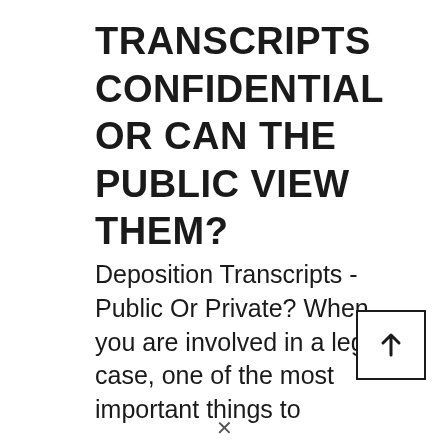TRANSCRIPTS CONFIDENTIAL OR CAN THE PUBLIC VIEW THEM?
Deposition Transcripts - Public Or Private? When you are involved in a legal case, one of the most important things to